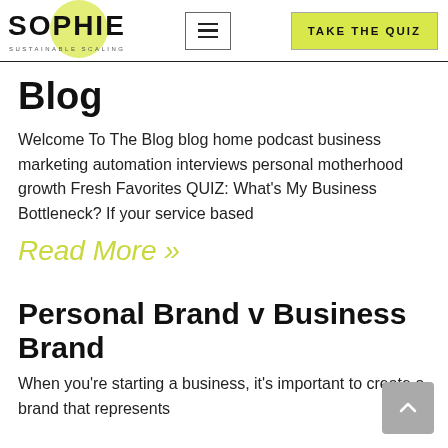SOPHIE SUSTAINABLE SCALING — navigation header with hamburger menu and TAKE THE QUIZ button
Blog
Welcome To The Blog blog home podcast business marketing automation interviews personal motherhood growth Fresh Favorites QUIZ: What's My Business Bottleneck? If your service based
Read More »
Personal Brand v Business Brand
When you're starting a business, it's important to create a brand that represents